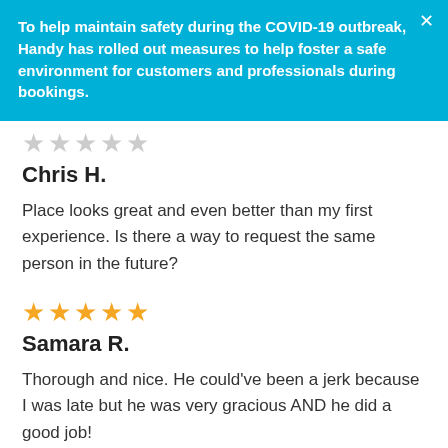To help maintain safety during the COVID-19 outbreak, Handy has rolled out measures to help foster a safe environment for customers and professionals during bookings.
[Figure (other): Five star rating icons (outline/gray) for first review]
Chris H.
Place looks great and even better than my first experience. Is there a way to request the same person in the future?
[Figure (other): Five filled gold star rating icons for Samara R. review]
Samara R.
Thorough and nice. He could've been a jerk because I was late but he was very gracious AND he did a good job!
[Figure (other): Five filled gold star rating icons for third review]